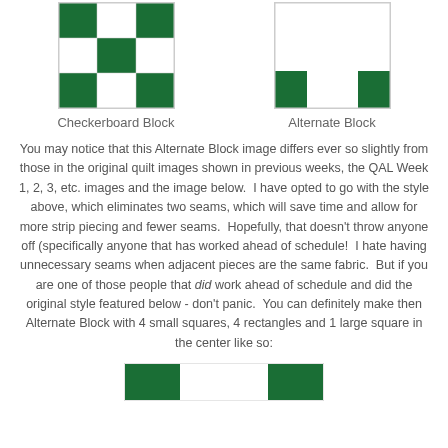[Figure (illustration): Checkerboard quilt block: 3x3 grid alternating green and white squares]
Checkerboard Block
[Figure (illustration): Alternate quilt block: white center with green squares in corners/edges]
Alternate Block
You may notice that this Alternate Block image differs ever so slightly from those in the original quilt images shown in previous weeks, the QAL Week 1, 2, 3, etc. images and the image below.  I have opted to go with the style above, which eliminates two seams, which will save time and allow for more strip piecing and fewer seams.  Hopefully, that doesn't throw anyone off (specifically anyone that has worked ahead of schedule!  I hate having unnecessary seams when adjacent pieces are the same fabric.  But if you are one of those people that did work ahead of schedule and did the original style featured below - don't panic.  You can definitely make then Alternate Block with 4 small squares, 4 rectangles and 1 large square in the center like so:
[Figure (illustration): Bottom partial quilt block preview with green squares]